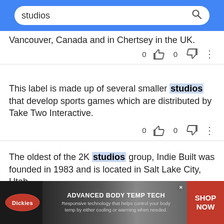studios [search bar]
Vancouver, Canada and in Chertsey in the UK.
This label is made up of several smaller studios that develop sports games which are distributed by Take Two Interactive.
The oldest of the 2K studios group, Indie Built was founded in 1983 and is located in Salt Lake City, Utah.
[Figure (screenshot): Dickies advertisement banner: ADVANCED BODY TEMP TECH. Responsive technology that helps control your body temp by either cooling or warming when needed. SHOP NOW.]